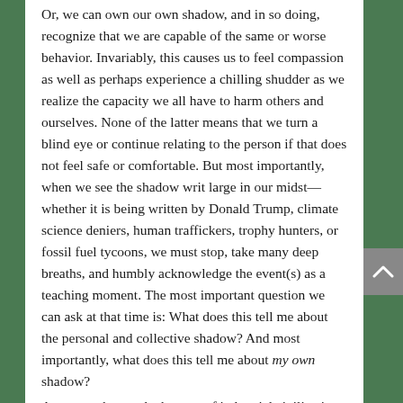Or, we can own our own shadow, and in so doing, recognize that we are capable of the same or worse behavior. Invariably, this causes us to feel compassion as well as perhaps experience a chilling shudder as we realize the capacity we all have to harm others and ourselves. None of the latter means that we turn a blind eye or continue relating to the person if that does not feel safe or comfortable. But most importantly, when we see the shadow writ large in our midst—whether it is being written by Donald Trump, climate science deniers, human traffickers, trophy hunters, or fossil fuel tycoons, we must stop, take many deep breaths, and humbly acknowledge the event(s) as a teaching moment. The most important question we can ask at that time is: What does this tell me about the personal and collective shadow? And most importantly, what does this tell me about my own shadow?
As we awaken to the horrors of industrial civilization,